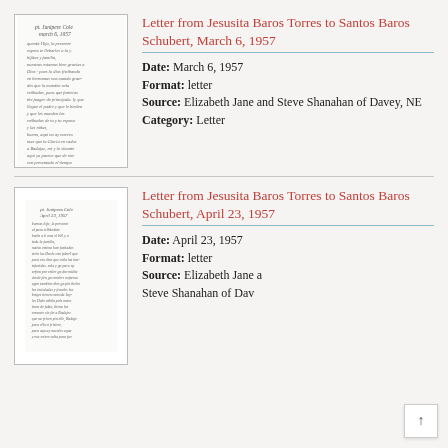[Figure (photo): Handwritten letter page, cursive script in ink, white paper with black border]
Letter from Jesusita Baros Torres to Santos Baros Schubert, March 6, 1957
Date: March 6, 1957
Format: letter
Source: Elizabeth Jane and Steve Shanahan of Davey, NE
Category: Letter
[Figure (photo): Handwritten letter page, cursive script in ink, white paper with black border]
Letter from Jesusita Baros Torres to Santos Baros Schubert, April 23, 1957
Date: April 23, 1957
Format: letter
Source: Elizabeth Jane and Steve Shanahan of Davey,